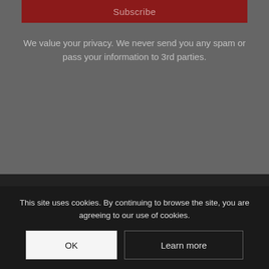Subscribe
We value your privacy. We never send you any spam or pass your information to 3rd parties.
Instagram Feed
This site uses cookies. By continuing to browse the site, you are agreeing to our use of cookies.
OK
Learn more